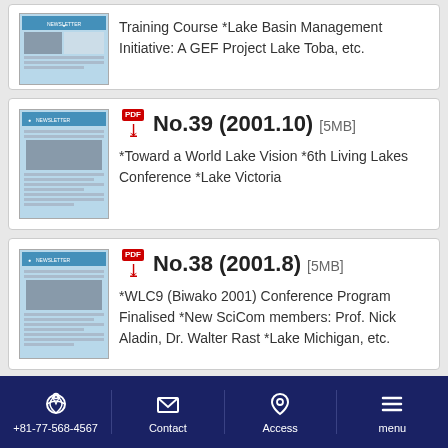[Figure (screenshot): Partial newsletter card showing Training Course entry with thumbnail image of newsletter. Text: Training Course *Lake Basin Management Initiative: A GEF Project Lake Toba, etc.]
[Figure (screenshot): Newsletter card for No.39 (2001.10) [5MB] with thumbnail. PDF icon shown. Description: *Toward a World Lake Vision *6th Living Lakes Conference *Lake Victoria]
[Figure (screenshot): Newsletter card for No.38 (2001.8) [5MB] with thumbnail. PDF icon shown. Description: *WLC9 (Biwako 2001) Conference Program Finalised *New SciCom members: Prof. Nick Aladin, Dr. Walter Rast *Lake Michigan, etc.]
[Figure (screenshot): Partial bottom card, mostly cut off]
+81-77-568-4567   Contact   Access   menu